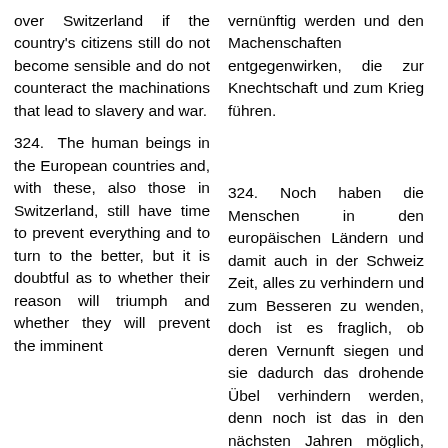over Switzerland if the country's citizens still do not become sensible and do not counteract the machinations that lead to slavery and war.
324. The human beings in the European countries and, with these, also those in Switzerland, still have time to prevent everything and to turn to the better, but it is doubtful as to whether their reason will triumph and whether they will prevent the imminent
vernünftig werden und den Machenschaften entgegenwirken, die zur Knechtschaft und zum Krieg führen.
324. Noch haben die Menschen in den europäischen Ländern und damit auch in der Schweiz Zeit, alles zu verhindern und zum Besseren zu wenden, doch ist es fraglich, ob deren Vernunft siegen und sie dadurch das drohende Übel verhindern werden, denn noch ist das in den nächsten Jahren möglich, wonach es dann aber sehr schnell zu spät sein wird.